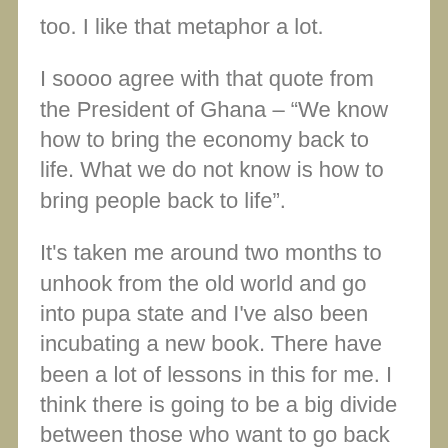too. I like that metaphor a lot.
I soooo agree with that quote from the President of Ghana – “We know how to bring the economy back to life. What we do not know is how to bring people back to life”.
It's taken me around two months to unhook from the old world and go into pupa state and I've also been incubating a new book. There have been a lot of lessons in this for me. I think there is going to be a big divide between those who want to go back to ‘normal’ and those who have seen new possibilities for the future.